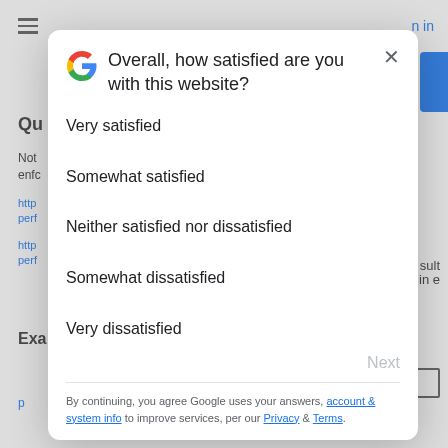[Figure (screenshot): Background webpage with menu icon, sign-in link, blue button, and partial text about Note and Examples]
Overall, how satisfied are you with this website?
Very satisfied
Somewhat satisfied
Neither satisfied nor dissatisfied
Somewhat dissatisfied
Very dissatisfied
By continuing, you agree Google uses your answers, account & system info to improve services, per our Privacy & Terms.